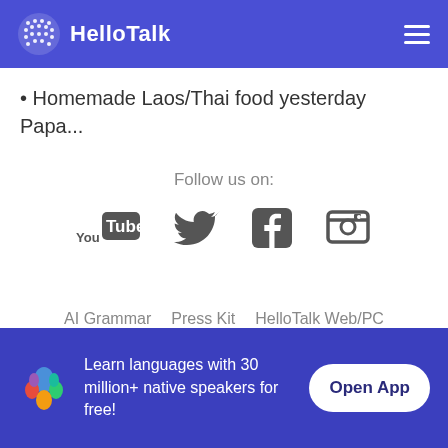HelloTalk
Homemade Laos/Thai food yesterday Papa...
Follow us on:
[Figure (logo): Social media icons: YouTube, Twitter, Facebook, Instagram]
AI Grammar   Press Kit   HelloTalk Web/PC
Language Partners   Jobs   Blog   About
Learn languages with 30 million+ native speakers for free!